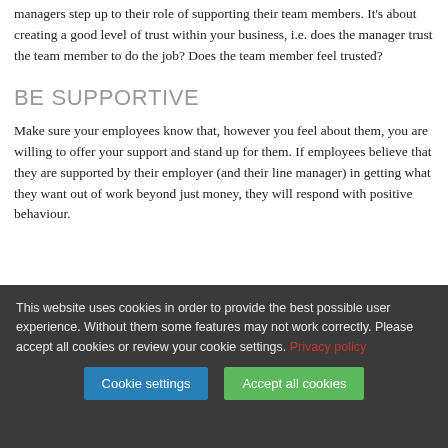managers step up to their role of supporting their team members. It's about creating a good level of trust within your business, i.e. does the manager trust the team member to do the job? Does the team member feel trusted?
BE SUPPORTIVE
Make sure your employees know that, however you feel about them, you are willing to offer your support and stand up for them. If employees believe that they are supported by their employer (and their line manager) in getting what they want out of work beyond just money, they will respond with positive behaviour.
This website uses cookies in order to provide the best possible user experience. Without them some features may not work correctly. Please accept all cookies or review your cookie settings. Privacy policy